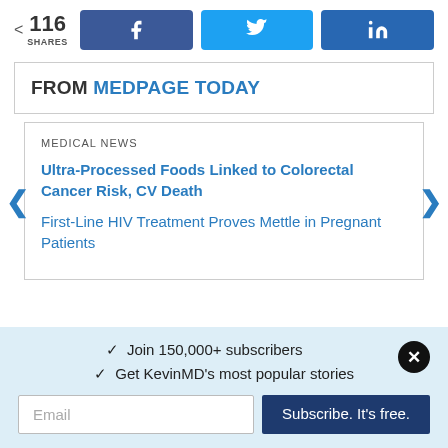[Figure (infographic): Social share bar showing 116 shares with Facebook, Twitter, and LinkedIn share buttons]
FROM MEDPAGE TODAY
MEDICAL NEWS
Ultra-Processed Foods Linked to Colorectal Cancer Risk, CV Death
First-Line HIV Treatment Proves Mettle in Pregnant Patients
✓  Join 150,000+ subscribers
✓  Get KevinMD's most popular stories
Email | Subscribe. It's free.